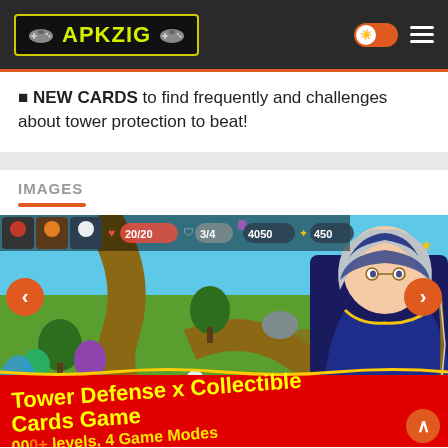APKZIG
■ NEW CARDS to find frequently and challenges about tower protection to beat!
IMAGES
[Figure (screenshot): Game screenshot of a tower defense mobile game showing a top-down map with fantasy characters, HUD elements showing 20/20 hearts, 3/4 shields, 4050 gems, 450 stars, and a large anime-style character on the right. Below shows promotional banner text: Tower Defense x Collectible Cards Game, levels, 4 Game Modes.]